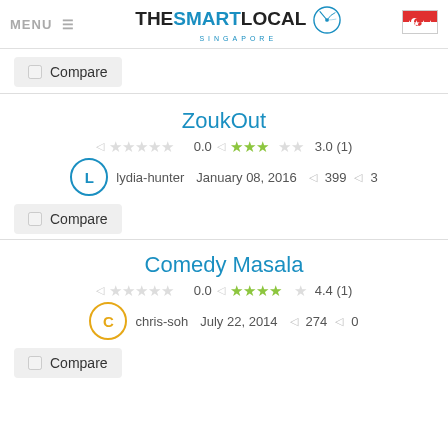MENU — TheSmartLocal Singapore
Compare (checkbox)
ZoukOut
0.0 | 3.0 (1) — lydia-hunter, January 08, 2016, 399 views, 3 comments
Compare (checkbox)
Comedy Masala
0.0 | 4.4 (1) — chris-soh, July 22, 2014, 274 views, 0 comments